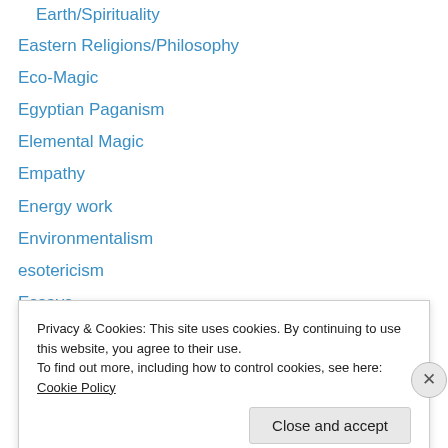Eastern Religions/Philosophy
Eco-Magic
Egyptian Paganism
Elemental Magic
Empathy
Energy work
Environmentalism
esotericism
Essays
Ethics
Experimental magic
Facing North Reviews
fantasy
Privacy & Cookies: This site uses cookies. By continuing to use this website, you agree to their use.
To find out more, including how to control cookies, see here: Cookie Policy
Close and accept